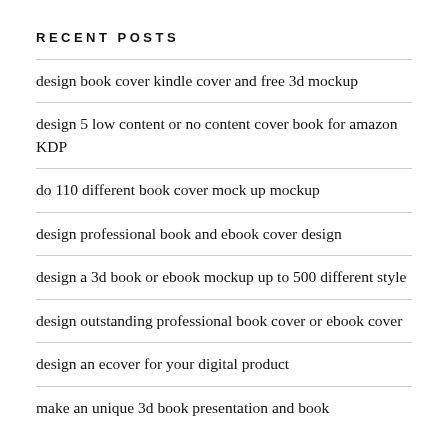RECENT POSTS
design book cover kindle cover and free 3d mockup
design 5 low content or no content cover book for amazon KDP
do 110 different book cover mock up mockup
design professional book and ebook cover design
design a 3d book or ebook mockup up to 500 different style
design outstanding professional book cover or ebook cover
design an ecover for your digital product
make an unique 3d book presentation and book